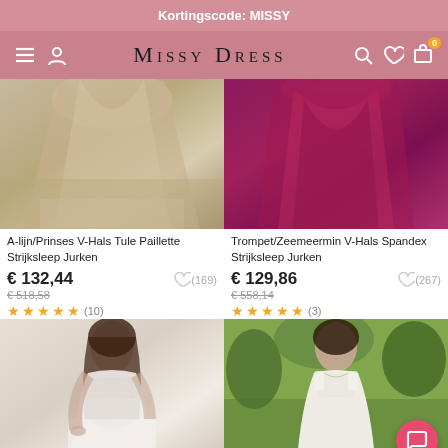Kortingscode: MISSY
[Figure (logo): Missy Dress navigation bar with hamburger menu, user icon, brand logo 'MISSY DRESS', search, heart and cart icons]
[Figure (photo): Close-up of a beige/champagne tulle A-line dress with paillette detail and train]
A-lijn/Prinses V-Hals Tule Paillette Strijksleep Jurken
€ 132,44
€ 518,58
★★★★★ (10)
♡ (169)
[Figure (photo): Close-up of a dark magenta/purple trumpet mermaid V-neck spandex dress with train]
Trompet/Zeemeermin V-Hals Spandex Strijksleep Jurken
€ 129,86
€ 558,14
★★★★★ (3)
♡ (267)
[Figure (photo): Woman wearing a white lace deep V-neck A-line evening gown, outdoor/indoor setting]
[Figure (photo): Woman wearing a white lace deep V-neck sleeveless wedding/evening gown, outdoor garden setting with chat button overlay]